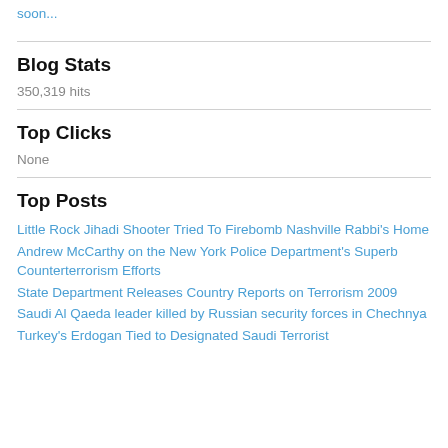soon...
Blog Stats
350,319 hits
Top Clicks
None
Top Posts
Little Rock Jihadi Shooter Tried To Firebomb Nashville Rabbi's Home
Andrew McCarthy on the New York Police Department's Superb Counterterrorism Efforts
State Department Releases Country Reports on Terrorism 2009
Saudi Al Qaeda leader killed by Russian security forces in Chechnya
Turkey's Erdogan Tied to Designated Saudi Terrorist